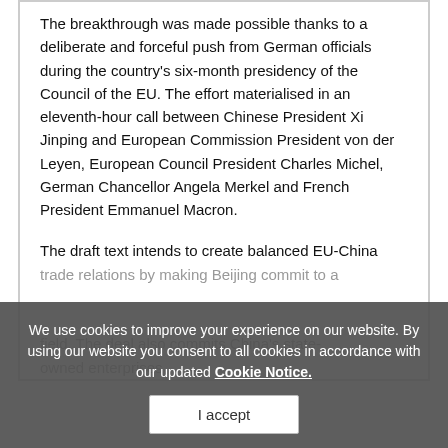The breakthrough was made possible thanks to a deliberate and forceful push from German officials during the country's six-month presidency of the Council of the EU. The effort materialised in an eleventh-hour call between Chinese President Xi Jinping and European Commission President von der Leyen, European Council President Charles Michel, German Chancellor Angela Merkel and French President Emmanuel Macron.
The draft text intends to create balanced EU-China trade relations by making Beijing commit to a...
We use cookies to improve your experience on our website. By using our website you consent to all cookies in accordance with our updated Cookie Notice.
I accept